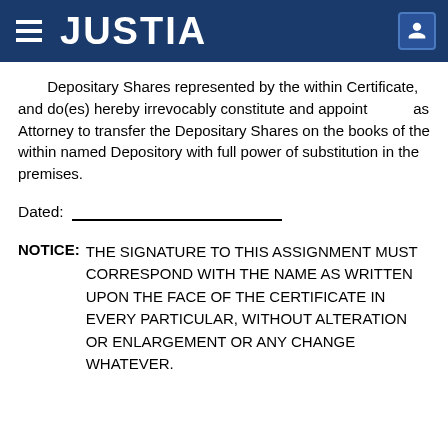JUSTIA
Depositary Shares represented by the within Certificate, and do(es) hereby irrevocably constitute and appoint           as Attorney to transfer the Depositary Shares on the books of the within named Depository with full power of substitution in the premises.
Dated: ___________________________
NOTICE: THE SIGNATURE TO THIS ASSIGNMENT MUST CORRESPOND WITH THE NAME AS WRITTEN UPON THE FACE OF THE CERTIFICATE IN EVERY PARTICULAR, WITHOUT ALTERATION OR ENLARGEMENT OR ANY CHANGE WHATEVER.